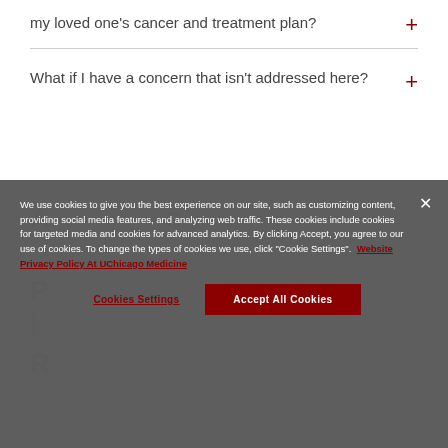my loved one's cancer and treatment plan?
What if I have a concern that isn't addressed here?
We use cookies to give you the best experience on our site, such as customizing content, providing social media features, and analyzing web traffic. These cookies include cookies for targeted media and cookies for advanced analytics. By clicking Accept, you agree to our use of cookies. To change the types of cookies we use, click "Cookie Settings".  Website Privacy Policy At UChicago Medicine
Cookies Settings
Accept All Cookies